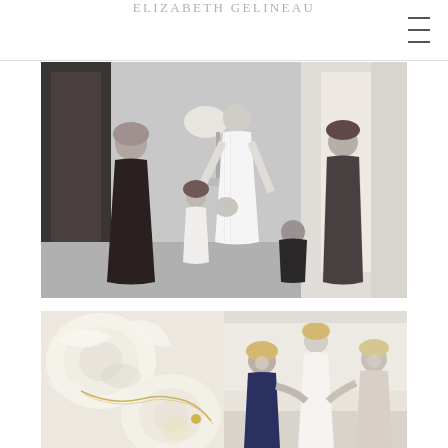ELIZABETH GELINEAU
[Figure (photo): Black and white photo of a bride in a white lace wedding dress standing while bridesmaids and helpers adjust her dress, with a lamp and large windows in the background]
[Figure (photo): Close-up photo of white and cream roses and ranunculus with a gold jewelry piece, and adjacent photo of women helping a bride with jewelry preparation]